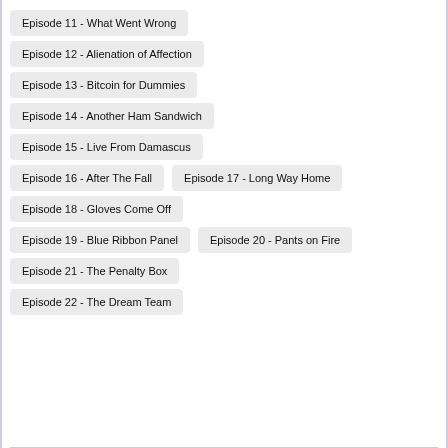Episode 11 - What Went Wrong
Episode 12 - Alienation of Affection
Episode 13 - Bitcoin for Dummies
Episode 14 - Another Ham Sandwich
Episode 15 - Live From Damascus
Episode 16 - After The Fall
Episode 17 - Long Way Home
Episode 18 - Gloves Come Off
Episode 19 - Blue Ribbon Panel
Episode 20 - Pants on Fire
Episode 21 - The Penalty Box
Episode 22 - The Dream Team